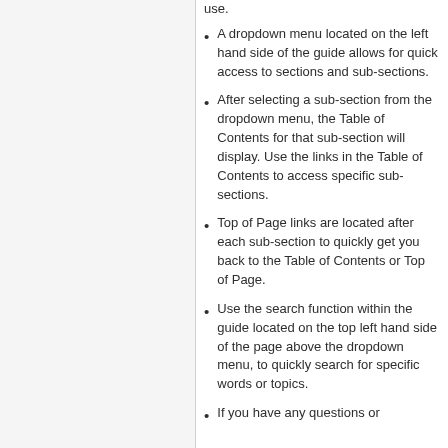A dropdown menu located on the left hand side of the guide allows for quick access to sections and sub-sections.
After selecting a sub-section from the dropdown menu, the Table of Contents for that sub-section will display. Use the links in the Table of Contents to access specific sub-sections.
Top of Page links are located after each sub-section to quickly get you back to the Table of Contents or Top of Page.
Use the search function within the guide located on the top left hand side of the page above the dropdown menu, to quickly search for specific words or topics.
If you have any questions or